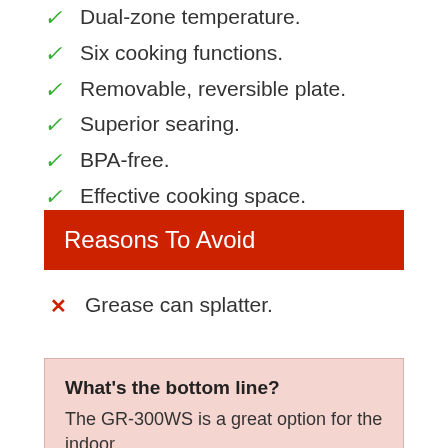Dual-zone temperature.
Six cooking functions.
Removable, reversible plate.
Superior searing.
BPA-free.
Effective cooking space.
Adjustable top cover.
Reasons To Avoid
Grease can splatter.
What's the bottom line?
The GR-300WS is a great option for the indoor